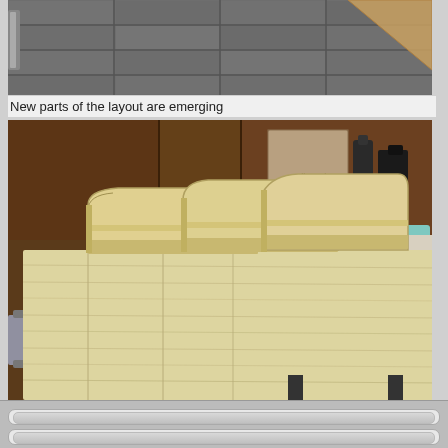[Figure (photo): Partial view of a model train layout workspace showing dark tile floor and some wooden/structural elements at the top of the frame]
New parts of the layout are emerging
[Figure (photo): Wooden plywood model train layout baseboard with curved risers/grades assembled on a workbench, with tools and cardboard boxes visible in background]
This is going to be a small river
[Figure (photo): Partial view of a wooden layout section on a floor, showing the beginnings of a river or water feature cut-out]